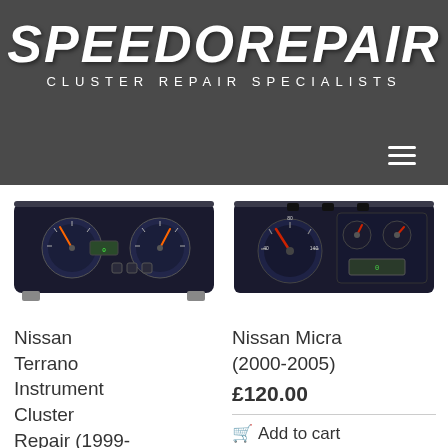SPEEDOREPAIR CLUSTER REPAIR SPECIALISTS
[Figure (photo): Nissan Terrano instrument cluster dashboard panel with orange needles and digital display]
[Figure (photo): Nissan Micra instrument cluster dashboard panel with orange needles and LCD display]
Nissan Terrano Instrument Cluster Repair (1999-2006)
Nissan Micra (2000-2005)
£120.00
Add to cart
D